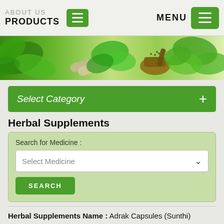ABOUT US PRODUCTS  MENU
[Figure (photo): Green herbal banner with leaves, capsules, mortar and pestle, and fresh herbs on light background]
Select Category
Herbal Supplements
Search for Medicine :
Select Medicine
SEARCH
Herbal Supplements Name : Adrak Capsules (Sunthi)
ADD TO QUERY CART